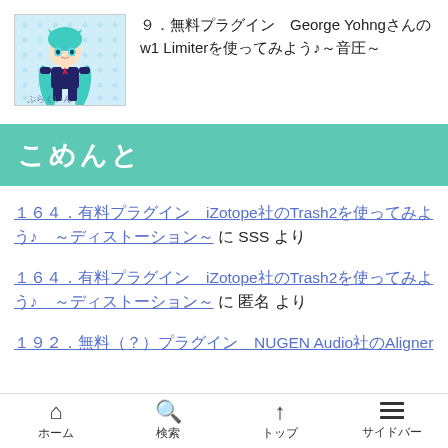[Figure (illustration): Anime character (Hatsune Miku style) with teal twin tails on a light blue dot pattern background, with Japanese text overlay]
９．無料プラグイン　George Yohngさんのw1 Limiterを使ってみよう♪～音圧～
こめんと
１６４．有料プラグイン　iZotope社のTrash2を使ってみよう♪　～ディストーション～ に SSS より
１６４．有料プラグイン　iZotope社のTrash2を使ってみよう♪　～ディストーション～ に 匿名 より
１９２．無料（？）プラグイン　NUGEN Audio社のAligner
ホーム　検索　トップ　サイドバー